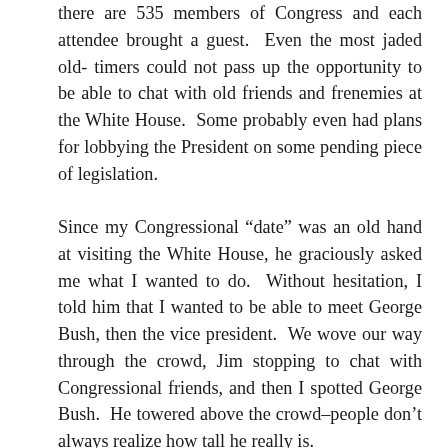there are 535 members of Congress and each attendee brought a guest.  Even the most jaded old- timers could not pass up the opportunity to be able to chat with old friends and frenemies at the White House.  Some probably even had plans for lobbying the President on some pending piece of legislation.
Since my Congressional “date” was an old hand at visiting the White House, he graciously asked me what I wanted to do.  Without hesitation, I told him that I wanted to be able to meet George Bush, then the vice president.  We wove our way through the crowd, Jim stopping to chat with Congressional friends, and then I spotted George Bush.  He towered above the crowd–people don’t always realize how tall he really is.
When we got there, the two men–Kolbe and Bush are two of the most gracious men I ever met–had a semi-awkward moment.  Jim, trying to make sure that Bush would not be